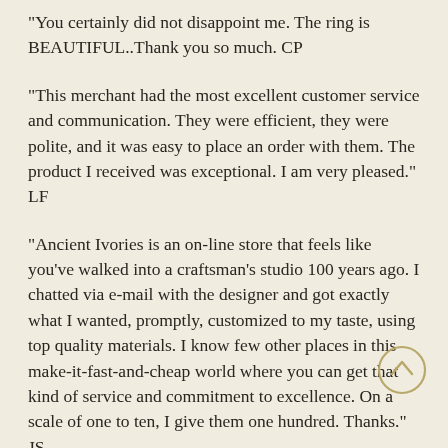"You certainly did not disappoint me. The ring is BEAUTIFUL..Thank you so much. CP
"This merchant had the most excellent customer service and communication. They were efficient, they were polite, and it was easy to place an order with them. The product I received was exceptional. I am very pleased." LF
"Ancient Ivories is an on-line store that feels like you've walked into a craftsman's studio 100 years ago. I chatted via e-mail with the designer and got exactly what I wanted, promptly, customized to my taste, using top quality materials. I know few other places in this make-it-fast-and-cheap world where you can get that kind of service and commitment to excellence. On a scale of one to ten, I give them one hundred. Thanks." JS
"I received the knife! It is so beautiful, I am so